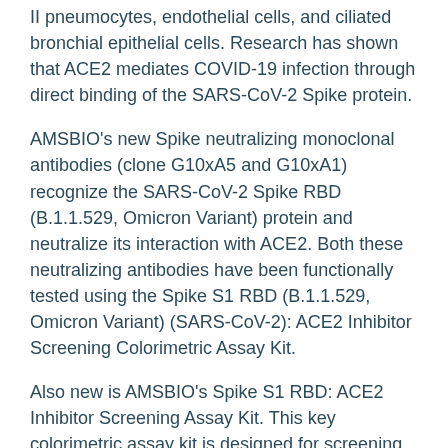II pneumocytes, endothelial cells, and ciliated bronchial epithelial cells. Research has shown that ACE2 mediates COVID-19 infection through direct binding of the SARS-CoV-2 Spike protein.
AMSBIO's new Spike neutralizing monoclonal antibodies (clone G10xA5 and G10xA1) recognize the SARS-CoV-2 Spike RBD (B.1.1.529, Omicron Variant) protein and neutralize its interaction with ACE2. Both these neutralizing antibodies have been functionally tested using the Spike S1 RBD (B.1.1.529, Omicron Variant) (SARS-CoV-2): ACE2 Inhibitor Screening Colorimetric Assay Kit.
Also new is AMSBIO's Spike S1 RBD: ACE2 Inhibitor Screening Assay Kit. This key colorimetric assay kit is designed for screening and profiling inhibitors or neutralizing antibodies of the interaction between the Omicron variant SARS-CoV-2 Spike RBD and human ACE2. The new assay requires only a few steps to use. Firstly, SARS-CoV-2 Spike RBD (B.1.1.529, Omicron variant) is coated on a 96-well plate overnight. After washing and blocking, the protein is pre-incubated with an